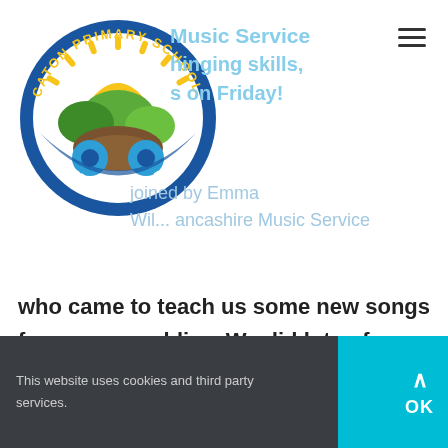[Figure (logo): Caton Primary School circular logo with text 'CATON PRIMARY SCHOOL' and 'INSPIRED THROUGH LEARNING', featuring sun, green hills and blue circles design in blue, yellow, green and brown colors]
Music Service singing skills, on Friday!
joined by Emma Wil... Lancashire Music Service who came to teach us some new songs for our assemblies. We did lots of crazy warm up activities with our mouths and made lots of weird sounds. We hope to
This website uses cookies and third party services.